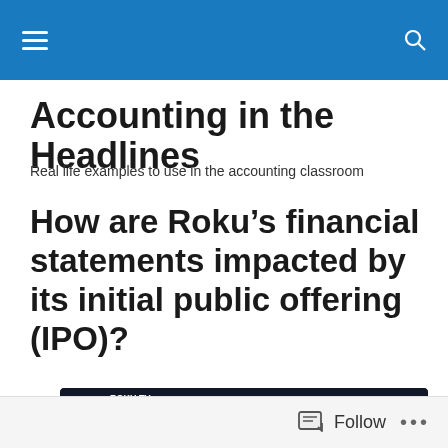Accounting in the Headlines
Accounting in the Headlines
Real life examples to use in the accounting classroom
How are Roku’s financial statements impacted by its initial public offering (IPO)?
[Figure (screenshot): Screenshot of the Roku TV interface showing the home screen with channels including Netflix, Amazon, and Sling, along with a cable TV input, game console, and Blu-ray player options.]
Follow